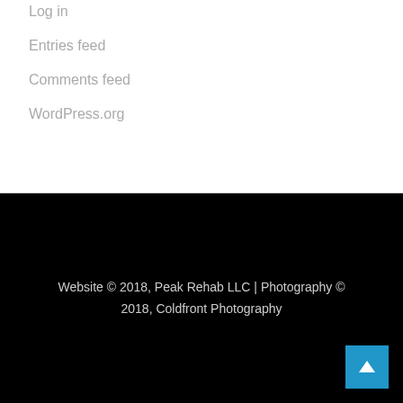Log in
Entries feed
Comments feed
WordPress.org
Website © 2018, Peak Rehab LLC | Photography © 2018, Coldfront Photography